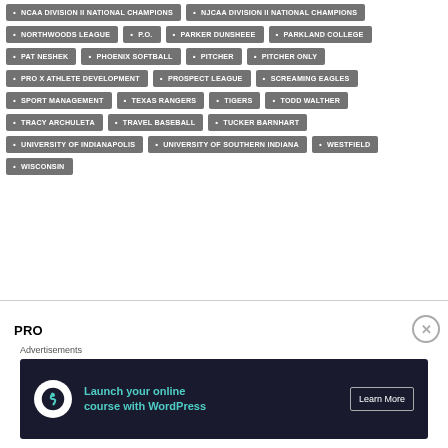NCAA DIVISION II NATIONAL CHAMPIONS
NJCAA DIVISION II NATIONAL CHAMPIONS
NORTHWOODS LEAGUE
P.O.
PARKER DUNSHEEE
PARKLAND COLLEGE
PAT NESHEK
PHOENIX SOFTBALL
PITCHER
PITCHER ONLY
PRO X ATHLETE DEVELOPMENT
PROSPECT LEAGUE
SCREAMING EAGLES
SPORT MANAGEMENT
TEXAS RANGERS
TIGERS
TODD WALTHER
TRACY ARCHULETA
TRAVEL BASEBALL
TUCKER BARNHART
UNIVERSITY OF INDIANAPOLIS
UNIVERSITY OF SOUTHERN INDIANA
WESTFIELD
WISCONSIN
PRO
Advertisements
[Figure (other): Advertisement banner: Launch your online course with WordPress. Learn More button.]